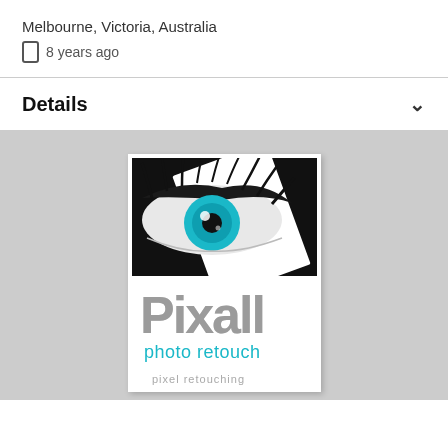Melbourne, Victoria, Australia
📱 8 years ago
Details
[Figure (logo): Pixall photo retouch logo featuring a close-up of an eye with a blue iris and long eyelashes against a dark background, with the text 'Pixall' in large stylized letters and 'photo retouch' in cyan below, and 'pixel retouching' partially visible at the bottom.]